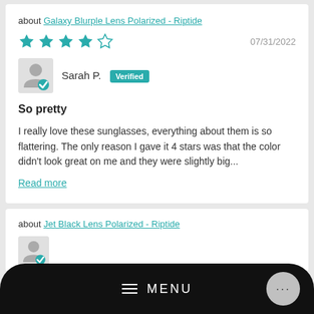about Galaxy Blurple Lens Polarized - Riptide
★★★★☆  07/31/2022
Sarah P.  Verified
So pretty
I really love these sunglasses, everything about them is so flattering. The only reason I gave it 4 stars was that the color didn't look great on me and they were slightly big...
Read more
about Jet Black Lens Polarized - Riptide
MENU